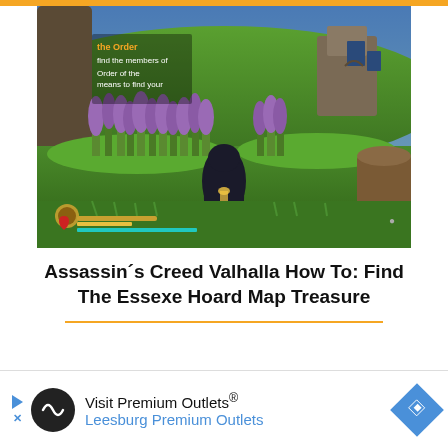[Figure (screenshot): Screenshot from Assassin's Creed Valhalla showing a character standing in a lush green field with purple wildflowers, stone ruins in the background, and game HUD elements visible including health bar and quest text reading 'the Order' and 'find the members of' and 'Order of the... means to find your']
Assassin's Creed Valhalla How To: Find The Essexe Hoard Map Treasure
[Figure (infographic): Advertisement banner for 'Visit Premium Outlets® Leesburg Premium Outlets' with a circular logo icon featuring an infinity symbol on black background, navigation arrow icon on right, and play/close controls on left]